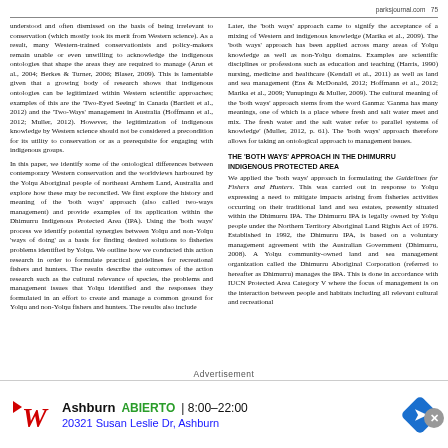parksjournal.com   75
understood and often dismissed on the basis of being irrelevant to conservation (which mostly took its merit from Western science). As a result, many Western-trained conservationists and policy-makers remain unable or even unwilling to acknowledge the indigenous ontologies that shape the areas they are required to manage (Arun et al., 2004; Berkes & Turner, 2006; Blaser, 2009). This is lamentable given that a growing body of research shows that indigenous ontologies can be legitimized within Western scientific approaches; examples of this are the 'Two-Eyed Seeing' in Canada (Bartlett et al., 2012) and the 'Two-Ways' management in Australia (Hoffmann et al., 2012; Muller, 2012). However, the legitimization of indigenous knowledge by Western science should not be considered a precondition for its utility to conservation or as a prerequisite for engaging with indigenous groups.
In this paper, we identify some of the ontological differences between contemporary Western conservation and the worldviews harboured by the Yolŋu Aboriginal people of northeast Arnhem Land, Australia and explore how these may be reconciled. We first explore the history and meaning of the 'both ways' approach (also called two-ways management) and provide examples of its application within the Dhimurru Indigenous Protected Area (IPA). Using the 'both ways' process we identify potential synergies between Yolŋu and non-Yolŋu 'ways of doing' as a basis for finding desired solutions to fisheries problems identified by Yolŋu. We outline how we conducted this action research in order to formulate practical guidelines for recreational fishers and hunters. The results describe the outcomes of the action research such as the cultural relevance of species, the problems and management issues that Yolŋu identified and the responses they formulated in an effort to create and manage a common ground for Yolŋu and non-Yolŋu fishers and hunters. The results also include
Later, the 'both ways' approach came to signify the acceptance of a mixing of Western and indigenous knowledge (Marika et al., 2009). The 'both ways' approach has been applied across many areas of Yolŋu knowledge as well as non-Yolŋu domains. Examples are scientific disciplines or professions such as education and teaching (Harris, 1990) nursing, medicine and healthcare (Kendall et al., 2011) as well as land and sea management (Ens & McDonald, 2012; Hoffmann et al., 2012; Marika et al., 2009; Yunupingu & Muller, 2009). The cultural meaning of the 'both ways' approach stems from the word Ganma: 'Ganma has many meanings, one of which is a place where fresh and salt water meet and mix. The fresh water and the salt water refer to parallel systems of knowledge' (Muller, 2012, p. 61). The 'both ways' approach therefore allows for taking an ontological approach to management issues.
THE 'BOTH WAYS' APPROACH IN THE DHIMURRU INDIGENOUS PROTECTED AREA
We applied the 'both ways' approach in formulating the Guidelines for Fishers and Hunters. This was carried out in response to Yolŋu expressing a need to mitigate impacts arising from fisheries activities occurring on their traditional land and sea estates, presently situated within the Dhimurru IPA. The Dhimurru IPA is legally owned by Yolŋu people under the Northern Territory Aboriginal Land Rights Act of 1976. Established in 1992, the Dhimurru IPA, is based on a voluntary management agreement with the Australian Government (Dhimurru, 2008). A Yolŋu community-owned land and sea management organization called the Dhimurru Aboriginal Corporation (referred to hereafter as Dhimurru) manages the IPA. This is done in accordance with IUCN Protected Area Category V where the focus of management is on the interaction between people and habitats including all relevant cultural and recreational